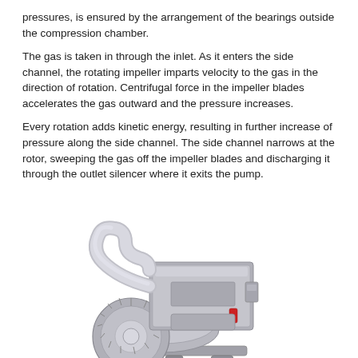pressures, is ensured by the arrangement of the bearings outside the compression chamber.
The gas is taken in through the inlet. As it enters the side channel, the rotating impeller imparts velocity to the gas in the direction of rotation. Centrifugal force in the impeller blades accelerates the gas outward and the pressure increases.
Every rotation adds kinetic energy, resulting in further increase of pressure along the side channel. The side channel narrows at the rotor, sweeping the gas off the impeller blades and discharging it through the outlet silencer where it exits the pump.
[Figure (photo): Photograph/illustration of a side channel blower/pump unit showing the motor housing on top, a curved inlet pipe on the left side, a finned impeller ring at the bottom left, and a mounting base with feet at the bottom. The unit is rendered in silver/grey metallic tones with a small red component visible on the motor.]